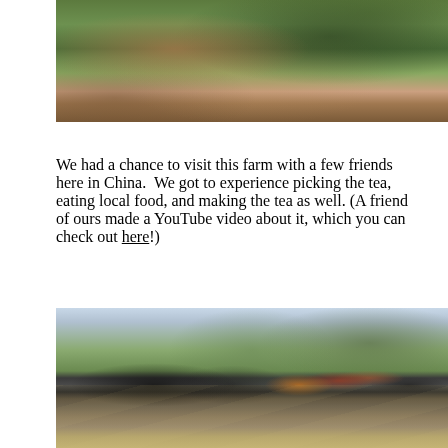[Figure (photo): Close-up photo of people picking tea leaves on a farm, showing hands and foliage. One person wearing pink plaid, another in dark blue.]
We had a chance to visit this farm with a few friends here in China.  We got to experience picking the tea, eating local food, and making the tea as well. (A friend of ours made a YouTube video about it, which you can check out here!)
[Figure (photo): Group of friends visiting a tea farm in China. Large round trays with green tea leaves drying in the foreground. Rolling hills with tea terraces in the background. People standing on a dirt path.]